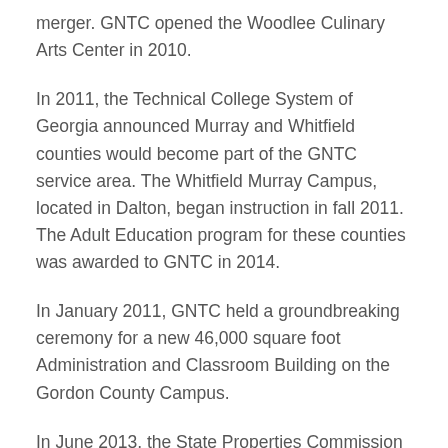merger. GNTC opened the Woodlee Culinary Arts Center in 2010.
In 2011, the Technical College System of Georgia announced Murray and Whitfield counties would become part of the GNTC service area. The Whitfield Murray Campus, located in Dalton, began instruction in fall 2011. The Adult Education program for these counties was awarded to GNTC in 2014.
In January 2011, GNTC held a groundbreaking ceremony for a new 46,000 square foot Administration and Classroom Building on the Gordon County Campus.
In June 2013, the State Properties Commission approved the purchase of land on Alabama Highway/Georgia 151 and Holcomb Road for the construction of the GNTC Catoosa County Campus. Instruction began in fall 2016.